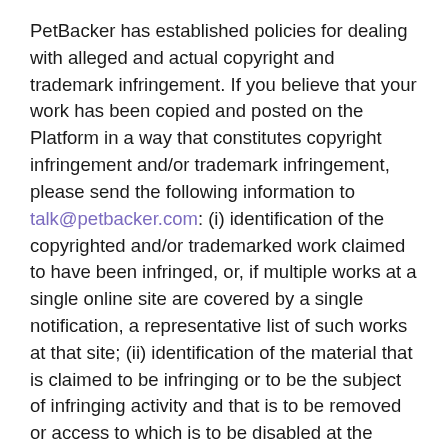PetBacker has established policies for dealing with alleged and actual copyright and trademark infringement. If you believe that your work has been copied and posted on the Platform in a way that constitutes copyright infringement and/or trademark infringement, please send the following information to talk@petbacker.com: (i) identification of the copyrighted and/or trademarked work claimed to have been infringed, or, if multiple works at a single online site are covered by a single notification, a representative list of such works at that site; (ii) identification of the material that is claimed to be infringing or to be the subject of infringing activity and that is to be removed or access to which is to be disabled at the Platform, and information reasonably sufficient to permit PetBacker to locate the material.; (iii) a written statement that you have a good faith belief that the disputed use is not authorized by the copyright and/or trademark owner, its agent, or the law; (iv) information reasonably sufficient to permit PetBacker to contact you as the complaining party, such as an address, telephone